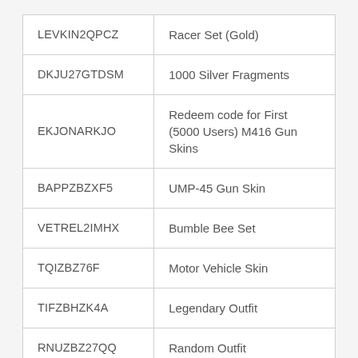| Code | Reward |
| --- | --- |
| LEVKIN2QPCZ | Racer Set (Gold) |
| DKJU27GTDSM | 1000 Silver Fragments |
| EKJONARKJO | Redeem code for First (5000 Users) M416 Gun Skins |
| BAPPZBZXF5 | UMP-45 Gun Skin |
| VETREL2IMHX | Bumble Bee Set |
| TQIZBZ76F | Motor Vehicle Skin |
| TIFZBHZK4A | Legendary Outfit |
| RNUZBZ27QQ | Random Outfit |
| SR01C24FQQ | AKM Skin |